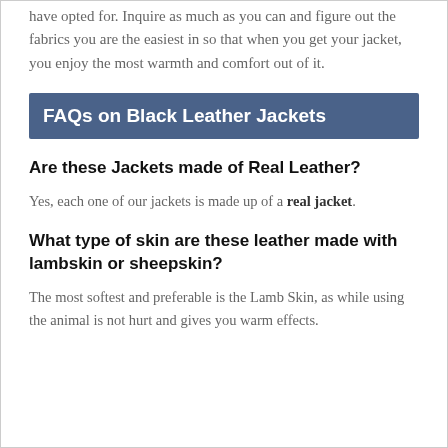have opted for. Inquire as much as you can and figure out the fabrics you are the easiest in so that when you get your jacket, you enjoy the most warmth and comfort out of it.
FAQs on Black Leather Jackets
Are these Jackets made of Real Leather?
Yes, each one of our jackets is made up of a real jacket.
What type of skin are these leather made with lambskin or sheepskin?
The most softest and preferable is the Lamb Skin, as while using the animal is not hurt and gives you warm effects.